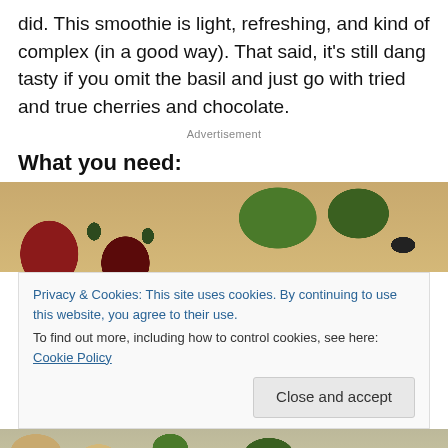did. This smoothie is light, refreshing, and kind of complex (in a good way). That said, it's still dang tasty if you omit the basil and just go with tried and true cherries and chocolate.
Advertisement
What you need:
[Figure (photo): Photo of cherries and green leafy herbs/vegetables on a wooden cutting board with black peppercorns]
Privacy & Cookies: This site uses cookies. By continuing to use this website, you agree to their use.
To find out more, including how to control cookies, see here: Cookie Policy
[Figure (photo): Bottom portion of food ingredients photo]